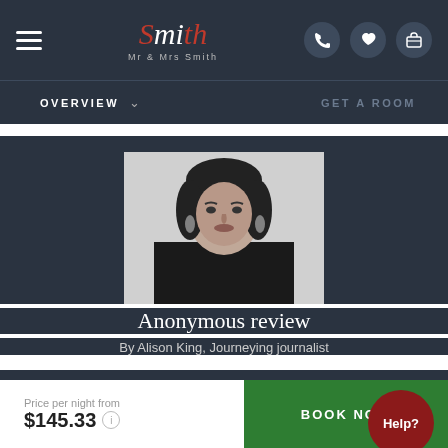Mr & Mrs Smith — navigation header with logo, hamburger menu, phone, heart, and bag icons
OVERVIEW    ∨    GET A ROOM
[Figure (photo): Black and white portrait photo of a woman with dark short hair wearing a black turtleneck]
Anonymous review
By Alison King, Journeying journalist
Founded by the Portuguese in the 16th-century, the sturdy ramparts and enchanting colonial-era streets of Unesco World Heritage Galle Fort is a Sri Lankan must-see. In its heart, you'll find Fort Bazaar:
Price per night from
$145.33 ⓘ
BOOK NOW